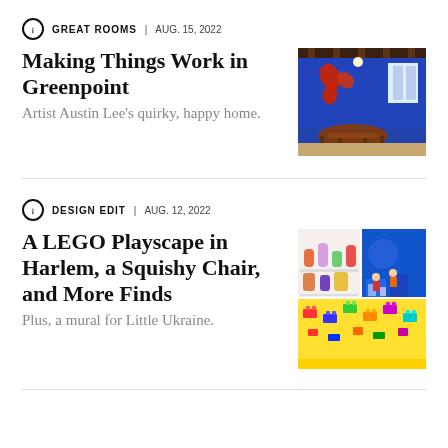GREAT ROOMS | AUG. 15, 2022
Making Things Work in Greenpoint
Artist Austin Lee's quirky, happy home.
[Figure (photo): Interior room with blue walls, red abstract wall art, dining table and chairs, exposed wood beam ceiling]
DESIGN EDIT | AUG. 12, 2022
A LEGO Playscape in Harlem, a Squishy Chair, and More Finds
Plus, a mural for Little Ukraine.
[Figure (photo): Collage of colorful objects: glassware, shelving, LEGO pieces, decorative items]